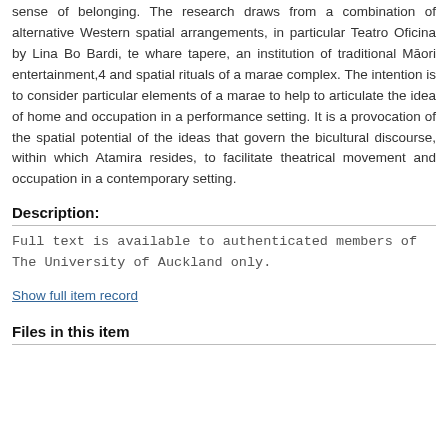sense of belonging. The research draws from a combination of alternative Western spatial arrangements, in particular Teatro Oficina by Lina Bo Bardi, te whare tapere, an institution of traditional Māori entertainment,4 and spatial rituals of a marae complex. The intention is to consider particular elements of a marae to help to articulate the idea of home and occupation in a performance setting. It is a provocation of the spatial potential of the ideas that govern the bicultural discourse, within which Atamira resides, to facilitate theatrical movement and occupation in a contemporary setting.
Description:
Full text is available to authenticated members of The University of Auckland only.
Show full item record
Files in this item